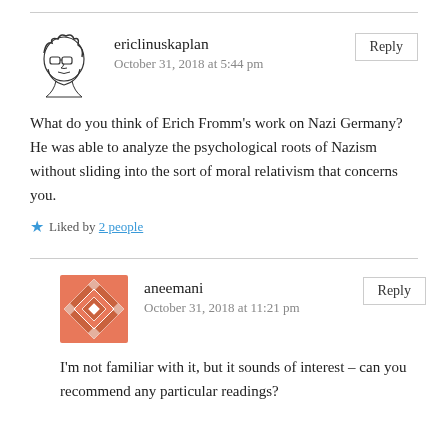[Figure (illustration): Sketched avatar of ericlinuskaplan, a person with curly hair and glasses]
ericlinuskaplan
October 31, 2018 at 5:44 pm
Reply
What do you think of Erich Fromm's work on Nazi Germany? He was able to analyze the psychological roots of Nazism without sliding into the sort of moral relativism that concerns you.
Liked by 2 people
[Figure (illustration): Geometric diamond/cross pattern avatar in orange/red for aneemani]
aneemani
October 31, 2018 at 11:21 pm
Reply
I'm not familiar with it, but it sounds of interest – can you recommend any particular readings?